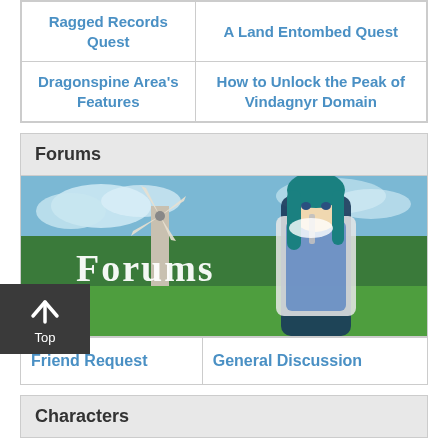| Ragged Records Quest | A Land Entombed Quest |
| Dragonspine Area's Features | How to Unlock the Peak of Vindagnyr Domain |
Forums
[Figure (illustration): Forums banner image showing an anime character with teal hair holding a sword, set against a scenic background with windmills and greenery. White bold text 'Forums' is overlaid on the left side.]
| Friend Request | General Discussion |
Characters